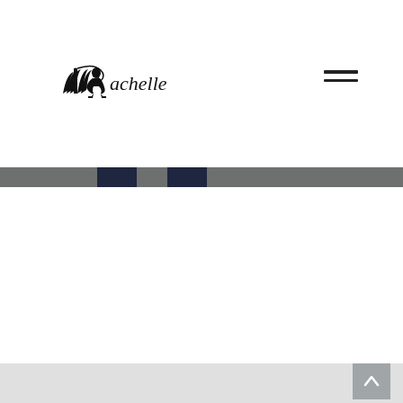[Figure (logo): iRachelle logo with open book and high heel silhouette forming the letter R, with text 'achelle' following]
[Figure (other): Hamburger menu icon with three horizontal lines]
[Figure (other): Navigation bar with alternating gray and dark navy segments across full width]